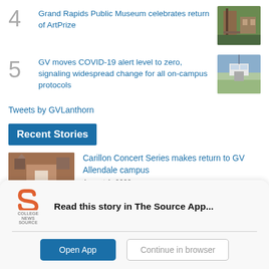4  Grand Rapids Public Museum celebrates return of ArtPrize
5  GV moves COVID-19 alert level to zero, signaling widespread change for all on-campus protocols
Tweets by GVLanthorn
Recent Stories
[Figure (photo): Photo of Carillon building at GV Allendale campus]
Carillon Concert Series makes return to GV Allendale campus
August 1, 2022
Read this story in The Source App...
Open App   Continue in browser